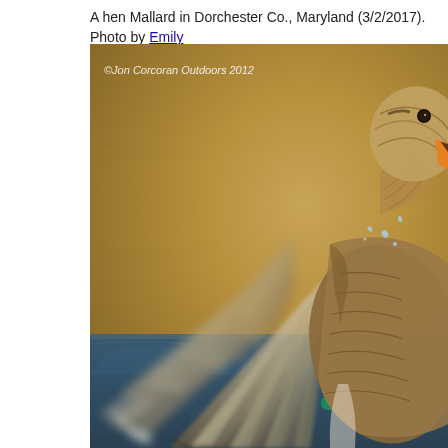A hen Mallard in Dorchester Co., Maryland (3/2/2017). Photo by Emily
[Figure (photo): A hen Mallard duck in motion with wings spread wide, photographed close-up against a blurred tan/brown water background with blue water reflections at the bottom. The duck shows brown and white wing feathers fanned out, with orange bill visible. A teal speculum is barely visible. Copyright Jon Corcoran Outdoors 2012 watermark in the upper left corner.]